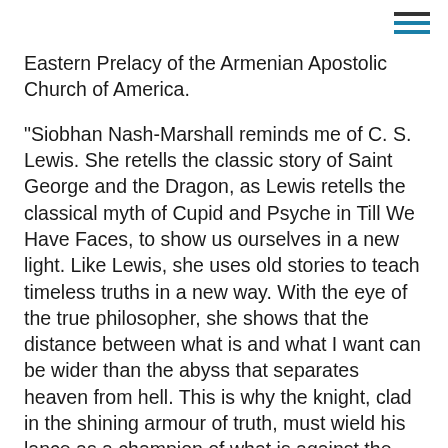≡
Eastern Prelacy of the Armenian Apostolic Church of America.
“Siobhan Nash-Marshall reminds me of C. S. Lewis. She retells the classic story of Saint George and the Dragon, as Lewis retells the classical myth of Cupid and Psyche in Till We Have Faces, to show us ourselves in a new light. Like Lewis, she uses old stories to teach timeless truths in a new way. With the eye of the true philosopher, she shows that the distance between what is and what I want can be wider than the abyss that separates heaven from hell. This is why the knight, clad in the shining armour of truth, must wield his lance as a champion of what is against the dragon of what I want. This is storytelling at its most depth-delvingly profound.”